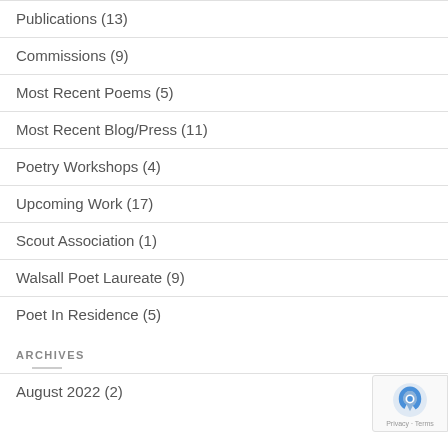Publications (13)
Commissions (9)
Most Recent Poems (5)
Most Recent Blog/Press (11)
Poetry Workshops (4)
Upcoming Work (17)
Scout Association (1)
Walsall Poet Laureate (9)
Poet In Residence (5)
ARCHIVES
August 2022 (2)